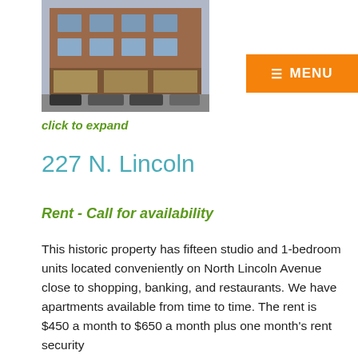[Figure (photo): Exterior photo of a multi-story brick apartment building at 227 N. Lincoln with storefronts at street level and cars parked in front.]
click to expand
227 N. Lincoln
Rent - Call for availability
This historic property has fifteen studio and 1-bedroom units located conveniently on North Lincoln Avenue close to shopping, banking, and restaurants. We have apartments available from time to time. The rent is $450 a month to $650 a month plus one month's rent security